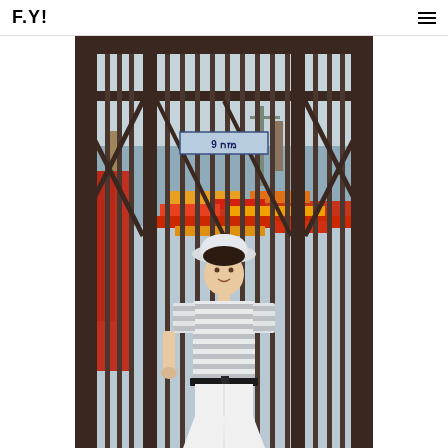F.Y!
[Figure (photo): Fashion editorial photo of a young male model standing in front of large dark metal gates at what appears to be a harbor or port. The model wears a white and grey horizontal striped t-shirt, white wide-leg trousers, a black belt, and a white bucket hat. Behind him through the gate bars are colorful boats (red, yellow, orange) and the sea. A blue sign on the gate reads text in Hebrew (מזח 9, meaning Pier 9). The metal gate structure has diagonal brace bars and spike-topped vertical bars.]